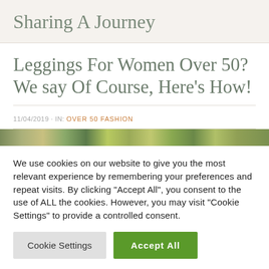Sharing A Journey
Leggings For Women Over 50? We say Of Course, Here's How!
11/04/2019 · IN: OVER 50 FASHION
[Figure (photo): Colorful image strip showing patterned leggings]
We use cookies on our website to give you the most relevant experience by remembering your preferences and repeat visits. By clicking "Accept All", you consent to the use of ALL the cookies. However, you may visit "Cookie Settings" to provide a controlled consent.